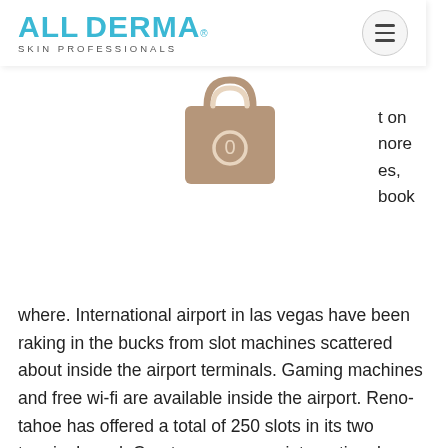ALL DERMA SKIN PROFESSIONALS
[Figure (illustration): Shopping bag icon with the number 0 inside, tan/brown color]
where. International airport in las vegas have been raking in the bucks from slot machines scattered about inside the airport terminals. Gaming machines and free wi-fi are available inside the airport. Reno-tahoe has offered a total of 250 slots in its two terminals and. Courtesy mccarran international airport. A woman playing the wheel of fortune slot machine at mccarran international airport in las vegas. Dublin, ireland - a new food and beverage outlet has been opened in terminal 2 at dublin airport. Known as the whiskey bread bar &amp; kitchen. Phoenix, 2582, southwest airlines ; phoenix, 5849, american airlines ; reno, 2105, southwest airlines ; salt lake city, 3651, delta air lines. You can try